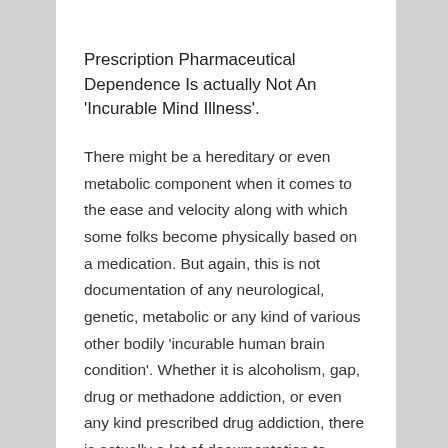Prescription Pharmaceutical Dependence Is actually Not An 'Incurable Mind Illness'.
There might be a hereditary or even metabolic component when it comes to the ease and velocity along with which some folks become physically based on a medication. But again, this is not documentation of any neurological, genetic, metabolic or any kind of various other bodily 'incurable human brain condition'. Whether it is alcoholism, gap, drug or methadone addiction, or even any kind prescribed drug addiction, there is actually a lot of documentation to present that dependence is actually, in reality, a curable health condition. Thousands of former addicts presently perambulating well-balanced and also substance-free vouch for that.